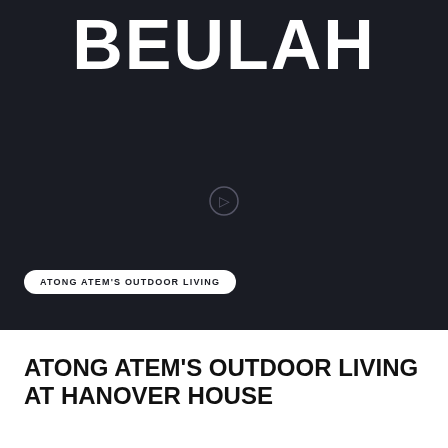[Figure (screenshot): Dark hero section of the Beulah website showing the BEULAH logo in large bold white text on a dark navy background, with a circular play button icon in the center, and a grey navigation bar at top with a hamburger menu icon on the left.]
ATONG ATEM'S OUTDOOR LIVING
ATONG ATEM'S OUTDOOR LIVING AT HANOVER HOUSE